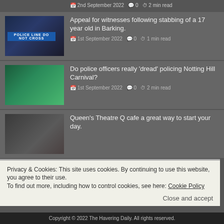2nd September 2022  0  2 min read
[Figure (photo): Police line do not cross tape, dark blue background]
Appeal for witnesses following stabbing of a 17 year old in Barking.
1st September 2022  0  1 min read
[Figure (photo): Carnival performer in colourful costume, teal and green]
Do police officers really 'dread' policing Notting Hill Carnival?
1st September 2022  0  2 min read
[Figure (photo): Person seated indoors, dark background]
Queen's Theatre Q cafe a great way to start your day.
Privacy & Cookies: This site uses cookies. By continuing to use this website, you agree to their use.
To find out more, including how to control cookies, see here: Cookie Policy
Close and accept
Copyright © 2022 The Havering Daily. All rights reserved.